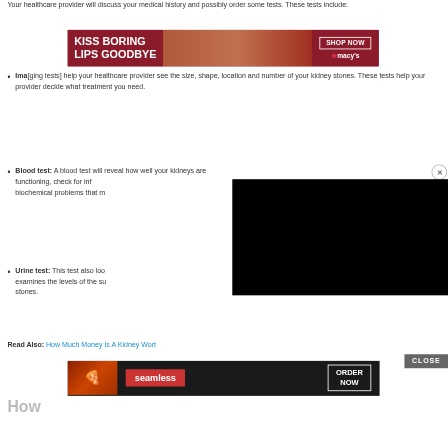Your healthcare provider will discuss your medical history and possibly order some tests. These tests include:
[Figure (photo): Advertisement banner: 'KISS BORING LIPS GOODBYE' with woman's face and red lips, Macy's 'SHOP NOW' button, red background]
Imaging tests: [partially obscured by ad] help your healthcare provider see the size, shape, location and number of your kidney stones. These tests help your provider decide what treatment you need.
Blood test: A blood test will reveal how well your kidneys are functioning, check for inf[ection, and identify] biochemical problems that m[ay cause stones].
Urine test: This test also loo[ks for signs of infection and] examines the levels of the su[bstances that form kidney] stones.
[Figure (screenshot): Black video player overlay covering right portion of page]
Read Also: How Much Money Is A Kidney Worth
[Figure (photo): Seamless food delivery advertisement with pizza image, seamless logo, and ORDER NOW button]
How [Much Money Is A Kidney Worth]